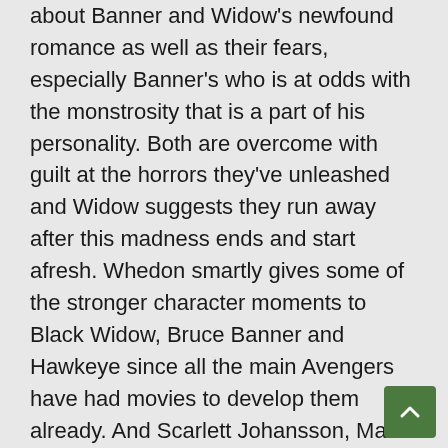about Banner and Widow's newfound romance as well as their fears, especially Banner's who is at odds with the monstrosity that is a part of his personality. Both are overcome with guilt at the horrors they've unleashed and Widow suggests they run away after this madness ends and start afresh. Whedon smartly gives some of the stronger character moments to Black Widow, Bruce Banner and Hawkeye since all the main Avengers have had movies to develop them already. And Scarlett Johansson, Mark Ruffalo and Jeremy Renner own their respective roles and bring out a vulnerability in these iconic individuals that's often found lacking in some of the more super-powered beings.

In lieu of shared rights with 20th Century Fox,